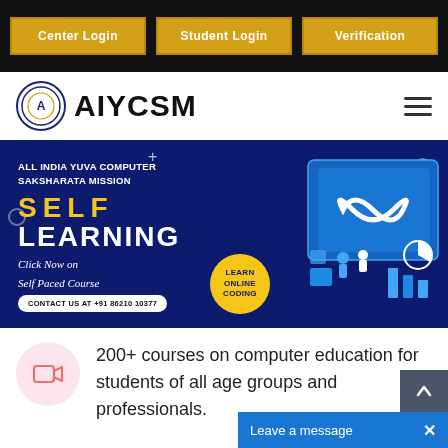Center Login | Student Login | Verification
[Figure (logo): AIYCSM logo with circular emblem]
[Figure (infographic): AIYCSM Self Learning banner — All India Yuva Computer Saksharata Mission. SELF LEARNING. Click Now on Self Paced Course. Contact us at +91 86210 10377. Learn Online Coding.]
200+ courses on computer education for students of all age groups and professionals.